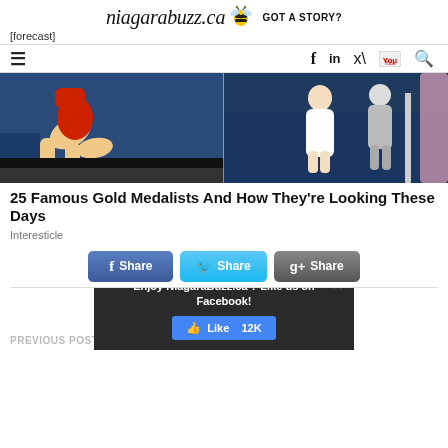niagarabuzz.ca  GOT A STORY?
[forecast]
[Figure (photo): Split image showing gymnasts/athletes: left side shows a gymnast in a red leotard bending over, right side shows a woman in a white dress standing near blue stadium seats]
25 Famous Gold Medalists And How They're Looking These Days
Interesticle
[Figure (infographic): Three social share buttons: Facebook Share (blue), Twitter Share (light blue), Google+ Share (dark gray)]
[Figure (infographic): Popup overlay bar: 'Enjoy NiagaraBuzz.ca ? Like us on Facebook!' with a blue Like 12K button and an X close button. Also shows partial LinkedIn/Pinterest/Tumblr share buttons above.]
PREVIOUS POST